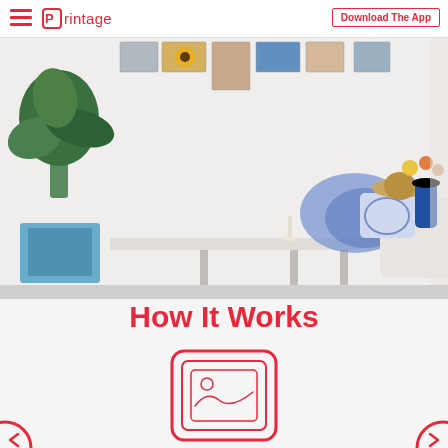Printage — Download The App
[Figure (photo): Interior lifestyle photo showing a room with tropical plants, a white table, blue and white patterned fabric/pillow, straw hat, blue vase with flowers, and framed photos arranged on a white wall in the background.]
How It Works
[Figure (other): Red outlined icon of a framed photograph/image, consisting of a rounded rectangle border, inner rectangle frame, and a landscape image icon with circle and wavy line inside.]
[Figure (other): Two partial red circle arrow/navigation icons at bottom left and bottom right corners.]